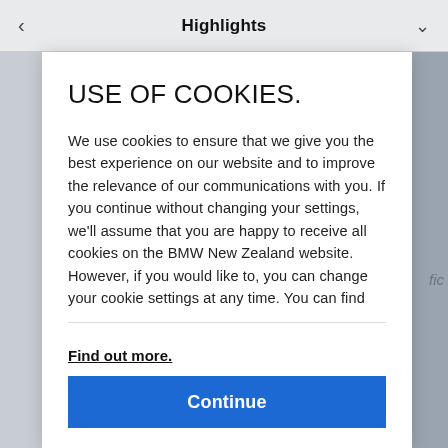< Highlights ∨
USE OF COOKIES.
We use cookies to ensure that we give you the best experience on our website and to improve the relevance of our communications with you. If you continue without changing your settings, we'll assume that you are happy to receive all cookies on the BMW New Zealand website. However, if you would like to, you can change your cookie settings at any time. You can find
Find out more.
Continue